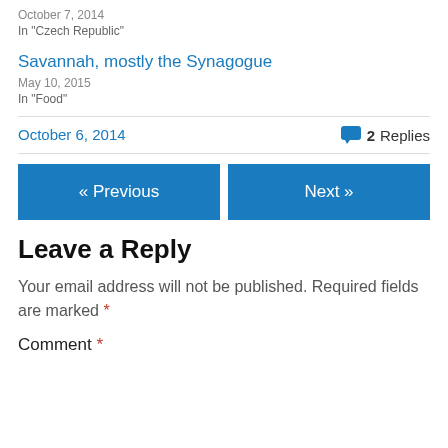October 7, 2014
In "Czech Republic"
Savannah, mostly the Synagogue
May 10, 2015
In "Food"
October 6, 2014
2 Replies
« Previous
Next »
Leave a Reply
Your email address will not be published. Required fields are marked *
Comment *